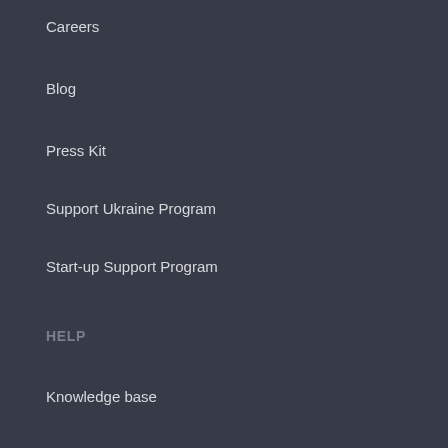Careers
Blog
Press Kit
Support Ukraine Program
Start-up Support Program
HELP
Knowledge base
Contact Us
Use Cases
Privacy Policy
Ethics Policy
Terms & Conditions